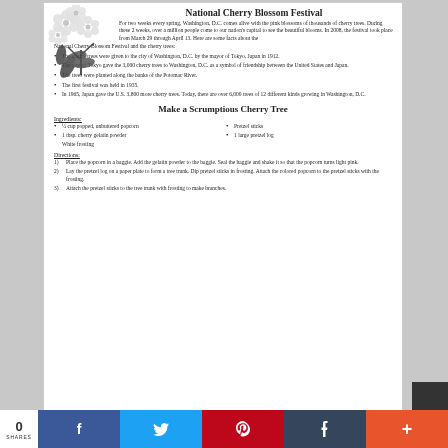[Figure (illustration): Black and white illustration of cherry blossoms with leaves in upper left corner]
National Cherry Blossom Festival
For two weeks every spring, Washington, D.C. comes alive with the pink blossoms of thousands of cherry trees. During these 2 weeks, over a million people come to our nation's capital to see the beautiful blooms. In 2008, the festival took place from March 29 through April 13. Here are some facts about the National Cherry Blossom Festival and the cherry trees:
The cherry trees were given to the city of Washington, D.C. by the mayor of Tokyo, Japan in 1912.
The city of Tokyo gave the 3,000 cherry trees to Washington, D.C. as a symbol of friendship between the United States and Japan.
The trees were planted along the banks of the Potomac River.
The first festival was held in 1935.
In 1965, Japan gave the U.S. 3,800 more cherry trees. Today, there are over 6,000 trees of 12 different kinds growing in Washington, D.C.
Make a Scrumptious Cherry Tree
Ingredients:
½ cup popped, unbuttered popcorn
Pretzel sticks
1 tbsp. cherry gelatin powder
1 large pretzel log
White frosting
Directions:
1) Place the popcorn in a baggie. Add the gelatin powder to the baggie. Seal the baggie and shake it so that the popcorn turns light pink.
2) Lay the pretzel log on a paper plate to form a tree trunk. Dip pretzel sticks in frosting. Attach the colored popcorn to the pretzel sticks with the frosting.
3) Attach the pretzel sticks to the tree trunk with frosting to make branches.